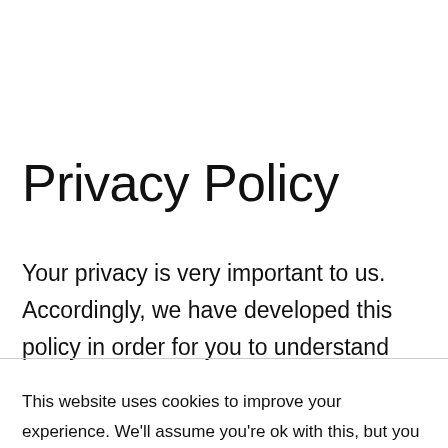Privacy Policy
Your privacy is very important to us. Accordingly, we have developed this policy in order for you to understand how we collect, use, communicate and
This website uses cookies to improve your experience. We'll assume you're ok with this, but you can opt-out if you wish.